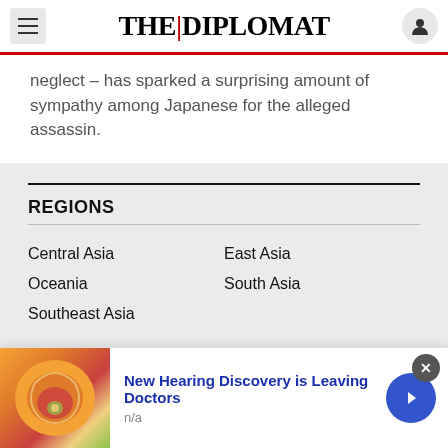THE DIPLOMAT
neglect – has sparked a surprising amount of sympathy among Japanese for the alleged assassin.
REGIONS
Central Asia
East Asia
Oceania
South Asia
Southeast Asia
New Hearing Discovery is Leaving Doctors
n/a